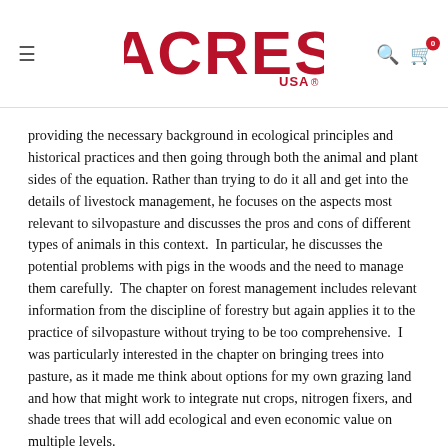ACRES USA
providing the necessary background in ecological principles and historical practices and then going through both the animal and plant sides of the equation. Rather than trying to do it all and get into the details of livestock management, he focuses on the aspects most relevant to silvopasture and discusses the pros and cons of different types of animals in this context.  In particular, he discusses the potential problems with pigs in the woods and the need to manage them carefully.  The chapter on forest management includes relevant information from the discipline of forestry but again applies it to the practice of silvopasture without trying to be too comprehensive.  I was particularly interested in the chapter on bringing trees into pasture, as it made me think about options for my own grazing land and how that might work to integrate nut crops, nitrogen fixers, and shade trees that will add ecological and even economic value on multiple levels.